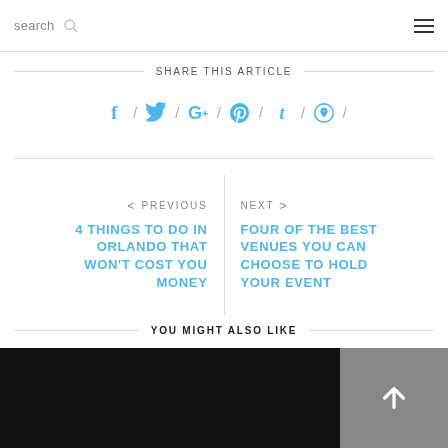search [search icon] [hamburger menu]
SHARE THIS ARTICLE
f / [twitter] / G+ / [pinterest] / t / [whatsapp] /
< PREVIOUS
4 THINGS TO DO IN ORLANDO THAT WON'T COST YOU MONEY
NEXT >
FOUR OF THE BEST VENUES YOU CAN CHOOSE TO HOLD YOUR EVENT
YOU MIGHT ALSO LIKE
[Figure (photo): Black image area at bottom left with scroll-to-top button on right]